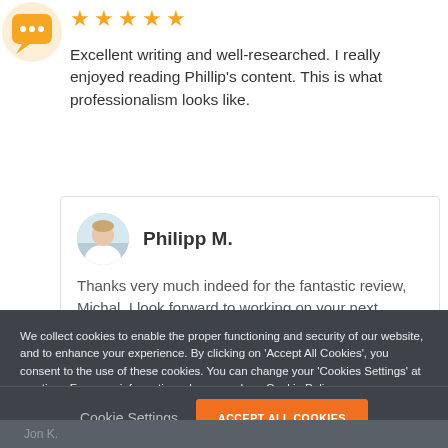[Figure (illustration): Orange speech-bubble icon avatar in top-left corner]
[Figure (illustration): Five orange star rating icons]
Excellent writing and well-researched. I really enjoyed reading Phillip's content. This is what professionalism looks like.
[Figure (photo): Circular avatar photo of Philipp M., a man in a white shirt against a light background]
Philipp M.
Thanks very much indeed for the fantastic review, Michal. I look forward to working on your next
We collect cookies to enable the proper functioning and security of our website, and to enhance your experience. By clicking on 'Accept All Cookies', you consent to the use of these cookies. You can change your 'Cookies Settings' at any time. For more information, please read our Cookie Policy
Cookie Settings
ACCEPT ALL COOKIES